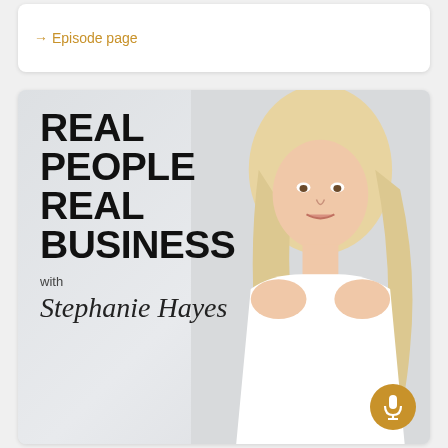→ Episode page
[Figure (photo): Podcast cover art for 'Real People Real Business with Stephanie Hayes' showing a blonde woman in a white top with a necklace on a light gray background, with bold black uppercase text on the left and a gold microphone badge in the lower right corner]